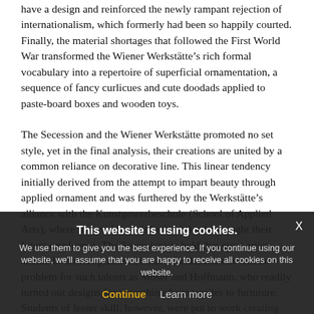have a design and reinforced the newly rampant rejection of internationalism, which formerly had been so happily courted. Finally, the material shortages that followed the First World War transformed the Wiener Werkstätte's rich formal vocabulary into a repertoire of superficial ornamentation, a sequence of fancy curlicues and cute doodads applied to paste-board boxes and wooden toys.
The Secession and the Wiener Werkstätte promoted no set style, yet in the final analysis, their creations are united by a common reliance on decorative line. This linear tendency initially derived from the attempt to impart beauty through applied ornament and was furthered by the Werkstätte's alliance with the Kunstgewerbeschule (School of Applied Arts), where many of the Werkstätte's leaders taught their future employees. The Secessionists held that great artists should be able to practice in many fields, and this was no problem for such talents as Moser and Hoffmann, who readily turned out designs for everything from textiles to furniture. Students of lesser skill, however, were put to work creating two-dimensional patterns, which could then be applied across the board to various purposes. For the emphasis away ... painters (with the exception of ... Kokoschka and the later Richard Gerstl) relied on line to define their compositions, rather than building forms through impasto and brushstroke.